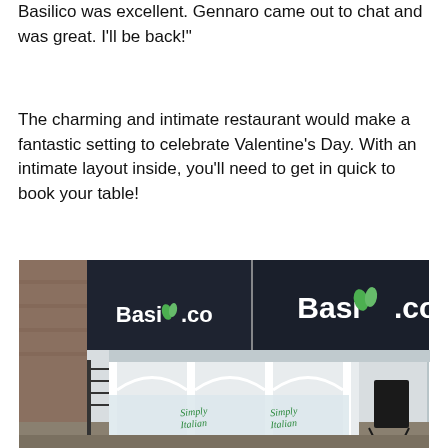Basilico was excellent. Gennaro came out to chat and was great. I'll be back!"
The charming and intimate restaurant would make a fantastic setting to celebrate Valentine's Day. With an intimate layout inside, you'll need to get in quick to book your table!
[Figure (photo): Exterior photo of Basilico restaurant building with dark navy/black fascia boards displaying 'Basilico' logo with green leaf icon. The building has large windows with white frames and arched details at the base. Frosted glass panels at the bottom display 'Simply Italian' in green cursive script. A sandwich board sign is visible on the right side. The building appears to be on a street corner.]